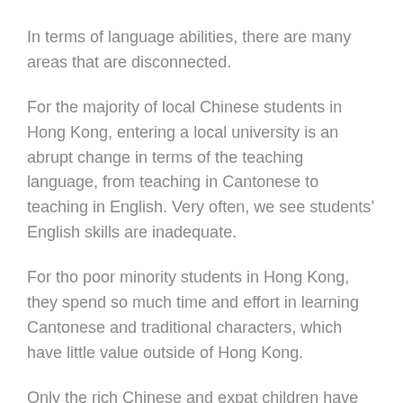In terms of language abilities, there are many areas that are disconnected.
For the majority of local Chinese students in Hong Kong, entering a local university is an abrupt change in terms of the teaching language, from teaching in Cantonese to teaching in English. Very often, we see students’ English skills are inadequate.
For tho poor minority students in Hong Kong, they spend so much time and effort in learning Cantonese and traditional characters, which have little value outside of Hong Kong.
Only the rich Chinese and expat children have the best of all. They do not face an abrupt language change when going to a university. Their Mandarin skills are widely applicable.